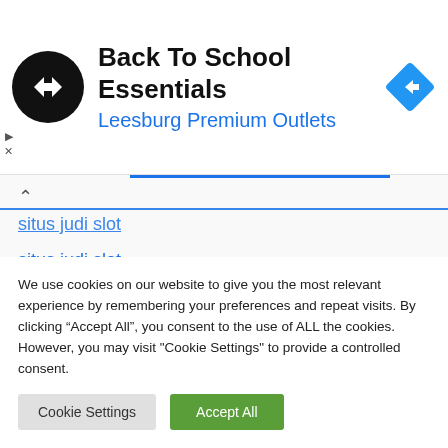[Figure (other): Advertisement banner: circular black logo with double arrow symbol, title 'Back To School Essentials', subtitle 'Leesburg Premium Outlets', and a blue diamond navigation arrow icon on the right.]
situs judi slot
situs judi slot
situs slot
Slot Online
slot online pragmatic88
judi slot online gacor
We use cookies on our website to give you the most relevant experience by remembering your preferences and repeat visits. By clicking “Accept All”, you consent to the use of ALL the cookies. However, you may visit "Cookie Settings" to provide a controlled consent.
Cookie Settings | Accept All